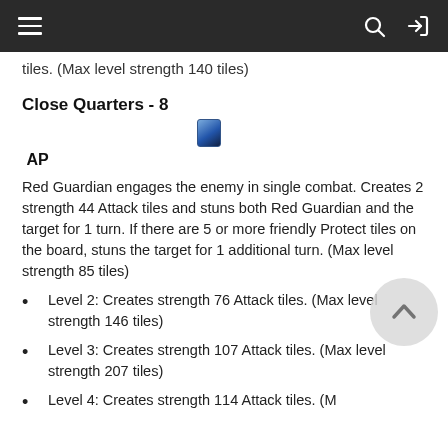Navigation header with hamburger menu, search, and login icons
tiles. (Max level strength 140 tiles)
Close Quarters - 8
AP
Red Guardian engages the enemy in single combat. Creates 2 strength 44 Attack tiles and stuns both Red Guardian and the target for 1 turn. If there are 5 or more friendly Protect tiles on the board, stuns the target for 1 additional turn. (Max level strength 85 tiles)
Level 2: Creates strength 76 Attack tiles. (Max level strength 146 tiles)
Level 3: Creates strength 107 Attack tiles. (Max level strength 207 tiles)
Level 4: Creates strength 114 Attack tiles. (M...